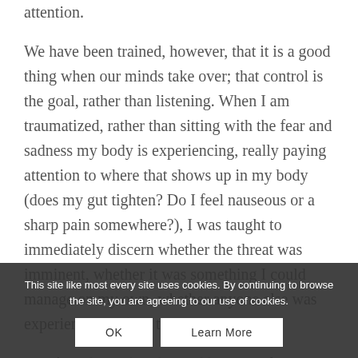attention. We have been trained, however, that it is a good thing when our minds take over; that control is the goal, rather than listening. When I am traumatized, rather than sitting with the fear and sadness my body is experiencing, really paying attention to where that shows up in my body (does my gut tighten? Do I feel nauseous or a sharp pain somewhere?), I was taught to immediately discern whether the threat was imminent, whether it was something I could manage on my own, whether anyone else was experiencing it (and thus, could the reaction in it altogether. Often, that meant ignoring it as an attempt to stop
This site like most every site uses cookies. By continuing to browse the site, you are agreeing to our use of cookies.